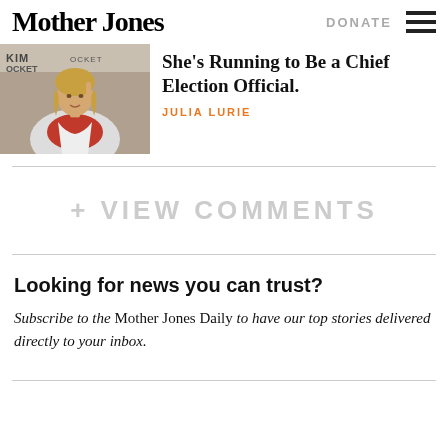Mother Jones | DONATE
[Figure (photo): Woman with blonde hair in white jacket speaking at a podium with text KIM and OCKET visible in the background]
She's Running to Be a Chief Election Official.
JULIA LURIE
+ VIEW COMMENTS
Looking for news you can trust?
Subscribe to the Mother Jones Daily to have our top stories delivered directly to your inbox.